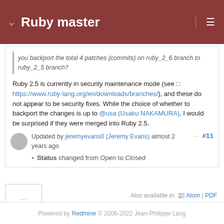Ruby master
you backport the total 4 patches (commits) on ruby_2_6 branch to ruby_2_5 branch?
Ruby 2.5 is currently in security maintenance mode (see https://www.ruby-lang.org/en/downloads/branches/), and these do not appear to be security fixes. While the choice of whether to backport the changes is up to @usa (Usaku NAKAMURA), I would be surprised if they were merged into Ruby 2.5.
Updated by jeremyevans0 (Jeremy Evans) almost 2 years ago ··· #11
Status changed from Open to Closed
···
Also available in: Atom | PDF
Powered by Redmine © 2006-2022 Jean-Philippe Lang